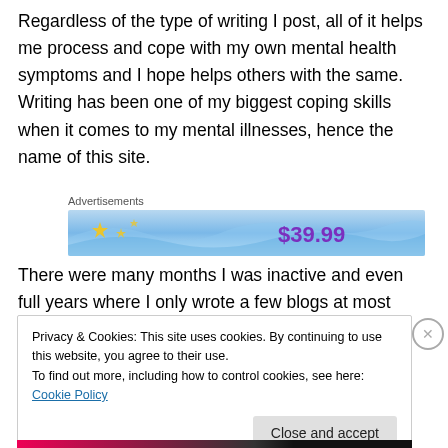Regardless of the type of writing I post, all of it helps me process and cope with my own mental health symptoms and I hope helps others with the same. Writing has been one of my biggest coping skills when it comes to my mental illnesses, hence the name of this site.
[Figure (other): Advertisement banner showing a blue gradient background with sparkle stars on the left and '$39.99' price text in purple on the right]
There were many months I was inactive and even full years where I only wrote a few blogs at most depending
Privacy & Cookies: This site uses cookies. By continuing to use this website, you agree to their use.
To find out more, including how to control cookies, see here: Cookie Policy